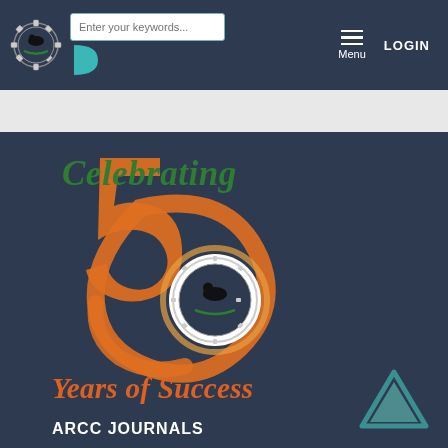Enter your keywords... | Menu | LOGIN
[Figure (logo): ARCC organization logo - gear shape with animal and wreath emblem]
[Figure (illustration): Celebrating 50 Years of Success graphic with large orange 50 numerals and ARCC logo embedded in the zero, on dark navy background]
ARCC JOURNALS